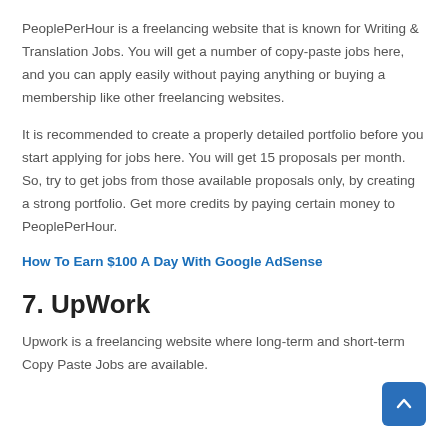PeoplePerHour is a freelancing website that is known for Writing & Translation Jobs. You will get a number of copy-paste jobs here, and you can apply easily without paying anything or buying a membership like other freelancing websites.
It is recommended to create a properly detailed portfolio before you start applying for jobs here. You will get 15 proposals per month. So, try to get jobs from those available proposals only, by creating a strong portfolio. Get more credits by paying certain money to PeoplePerHour.
How To Earn $100 A Day With Google AdSense
7. UpWork
Upwork is a freelancing website where long-term and short-term Copy Paste Jobs are available.